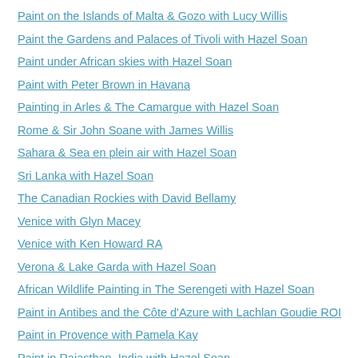Paint on the Islands of Malta & Gozo with Lucy Willis
Paint the Gardens and Palaces of Tivoli with Hazel Soan
Paint under African skies with Hazel Soan
Paint with Peter Brown in Havana
Painting in Arles & The Camargue with Hazel Soan
Rome & Sir John Soane with James Willis
Sahara & Sea en plein air with Hazel Soan
Sri Lanka with Hazel Soan
The Canadian Rockies with David Bellamy
Venice with Glyn Macey
Venice with Ken Howard RA
Verona & Lake Garda with Hazel Soan
African Wildlife Painting in The Serengeti with Hazel Soan
Paint in Antibes and the Côte d'Azure with Lachlan Goudie ROI
Paint in Provence with Pamela Kay
Paint in Rajasthan, India with Hazel Soan